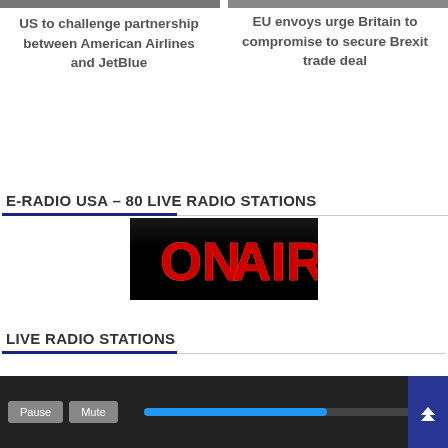[Figure (photo): Top partial photo strip - two images partially visible at top of page]
US to challenge partnership between American Airlines and JetBlue
EU envoys urge Britain to compromise to secure Brexit trade deal
E-RADIO USA – 80 LIVE RADIO STATIONS
[Figure (photo): ON AIR sign - red text on black background]
LIVE RADIO STATIONS
[Figure (screenshot): Bottom of page: dark radio player widget with Pause and Mute buttons and blue progress bar]